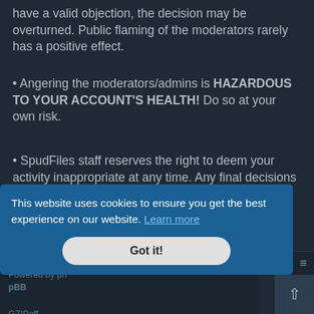have a valid objection, the decision may be overturned. Public flaming of the moderators rarely has a positive effect.
• Angering the moderators/admins is HAZARDOUS TO YOUR ACCOUNT'S HEALTH! Do so at your own risk.
• SpudFiles staff reserves the right to deem your activity inappropriate at any time. Any final decisions on questionable activity will be addressed by the SpudFiles owner, PCGUY.
Much thanks to member FreeFall for originally putting this together.
SpudFiles   Contact us   ≡
Powered by phpBB   GZIPoff
[Figure (screenshot): Cookie consent banner with text 'This website uses cookies to ensure you get the best experience on our website. Learn more' and a 'Got it!' button]